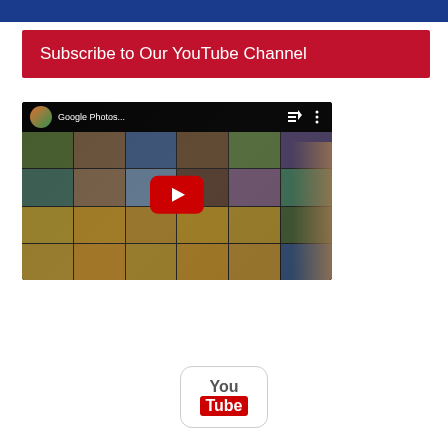[Figure (other): Blue banner/header strip at the top of the page]
Subscribe to Our YouTube Channel
[Figure (screenshot): YouTube video thumbnail showing Google Photos video with play button, tablet device with photo grid visible]
[Figure (logo): YouTube logo icon with rounded square border, 'You' in gray and 'Tube' in red on white background]